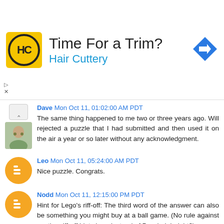[Figure (logo): Hair Cuttery advertisement banner with HC logo, text 'Time For a Trim?' and 'Hair Cuttery', and a blue navigation arrow icon]
Dave Mon Oct 11, 01:02:00 AM PDT
The same thing happened to me two or three years ago. Will rejected a puzzle that I had submitted and then used it on the air a year or so later without any acknowledgment.
Leo Mon Oct 11, 05:24:00 AM PDT
Nice puzzle. Congrats.
Nodd Mon Oct 11, 12:15:00 PM PDT
Hint for Lego's riff-off: The third word of the answer can also be something you might buy at a ball game. (No rule against posting riff-off hints here instead of Puzzleria!, right?)